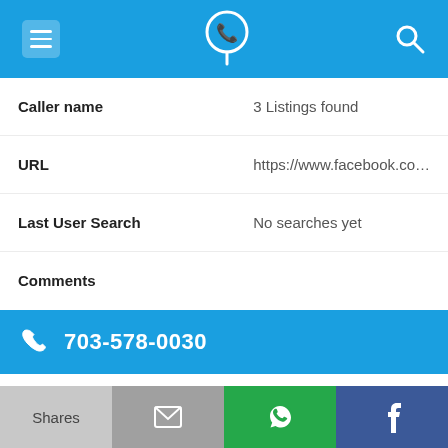[Figure (screenshot): Mobile app top navigation bar with blue background, hamburger menu icon on left, phone/location icon in center, search icon on right]
| Caller name | 3 Listings found |
| URL | https://www.facebook.co... |
| Last User Search | No searches yet |
| Comments |  |
[Figure (screenshot): Blue phone number bar showing 703-578-0030 with phone icon]
| Alternate Form | 7035780030 |
| Caller name | 5 Listings found |
[Figure (screenshot): Bottom action bar with four buttons: Shares (gray), mail (darker gray), WhatsApp (green), Facebook (blue)]